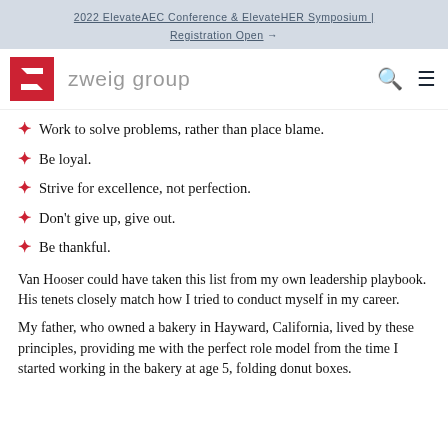2022 ElevateAEC Conference & ElevateHER Symposium | Registration Open →
[Figure (logo): Zweig Group logo — red square with white Z-arrow icon, followed by 'zweig group' in light gray sans-serif text]
Work to solve problems, rather than place blame.
Be loyal.
Strive for excellence, not perfection.
Don't give up, give out.
Be thankful.
Van Hooser could have taken this list from my own leadership playbook. His tenets closely match how I tried to conduct myself in my career.
My father, who owned a bakery in Hayward, California, lived by these principles, providing me with the perfect role model from the time I started working in the bakery at age 5, folding donut boxes.